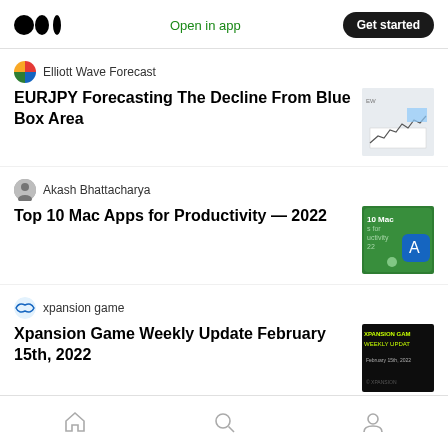Medium app header with logo, Open in app, Get started
Elliott Wave Forecast
EURJPY Forecasting The Decline From Blue Box Area
[Figure (screenshot): Financial chart thumbnail for EURJPY article]
Akash Bhattacharya
Top 10 Mac Apps for Productivity — 2022
[Figure (screenshot): Green thumbnail showing Mac apps for productivity 2022]
xpansion game
Xpansion Game Weekly Update February 15th, 2022
[Figure (screenshot): Dark thumbnail for Xpansion Game Weekly Update February 2022]
CSE Student
competitive Programming
[Figure (screenshot): Photo thumbnail for CSE Student competitive programming article]
Bottom navigation: Home, Search, Profile